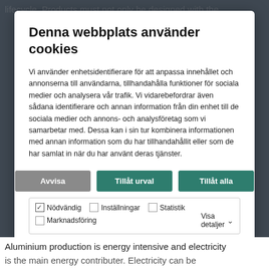lifecycle. Products must not only be designed with the
[Figure (screenshot): Cookie consent dialog in Swedish with title 'Denna webbplats använder cookies', body text explaining use of device identifiers, three buttons (Avvisa, Tillåt urval, Tillåt alla), and checkboxes for Nödvändig, Inställningar, Statistik, Marknadsföring with a 'Visa detaljer' dropdown.]
Aluminium production is energy intensive and electricity is the main energy contributer. Electricity can be